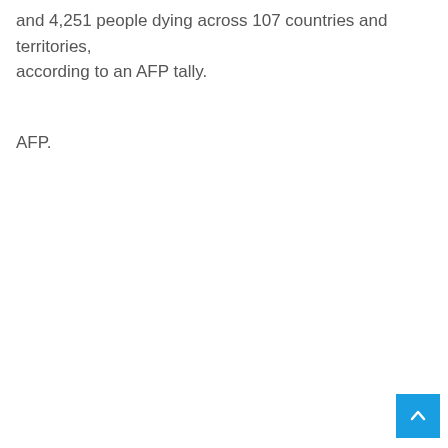and 4,251 people dying across 107 countries and territories, according to an AFP tally.
AFP.